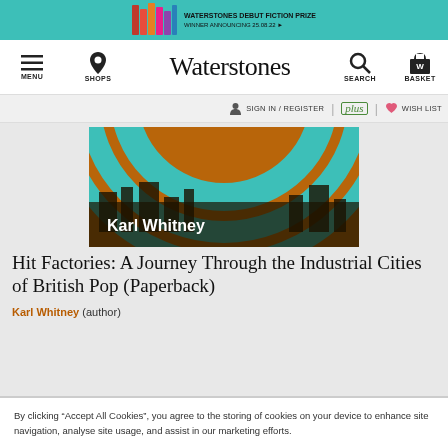[Figure (screenshot): Waterstones website screenshot showing promo banner, navigation bar, book cover image, book title, and cookie consent notice]
WATERSTONES DEBUT FICTION PRIZE — WINNER ANNOUNCING 25.08.22
MENU | SHOPS | Waterstones | SEARCH | BASKET
SIGN IN / REGISTER | plus | WISH LIST
Karl Whitney
Hit Factories: A Journey Through the Industrial Cities of British Pop (Paperback)
Karl Whitney (author)
By clicking “Accept All Cookies”, you agree to the storing of cookies on your device to enhance site navigation, analyse site usage, and assist in our marketing efforts.